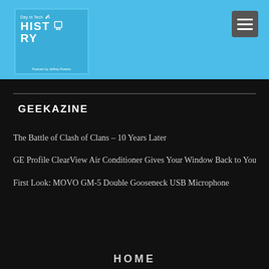[Figure (logo): Day In Tech HISTORY podcast logo - blue square with white text, wifi icon, monitor icon, and 'Podcast by Jeffrey Powers' text]
[Figure (other): Hamburger menu icon - dark grey rounded square with three horizontal white lines]
GEEKAZINE
The Battle of Clash of Clans – 10 Years Later
GE Profile ClearView Air Conditioner Gives Your Window Back to You
First Look: MOVO GM-5 Double Gooseneck USB Microphone
HOME